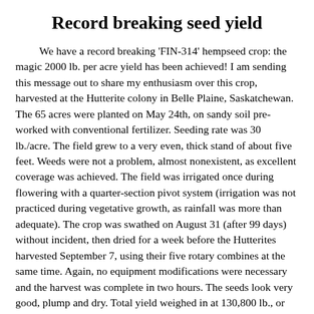Record breaking seed yield
We have a record breaking 'FIN-314' hempseed crop: the magic 2000 lb. per acre yield has been achieved! I am sending this message out to share my enthusiasm over this crop, harvested at the Hutterite colony in Belle Plaine, Saskatchewan. The 65 acres were planted on May 24th, on sandy soil pre-worked with conventional fertilizer. Seeding rate was 30 lb./acre. The field grew to a very even, thick stand of about five feet. Weeds were not a problem, almost nonexistent, as excellent coverage was achieved. The field was irrigated once during flowering with a quarter-section pivot system (irrigation was not practiced during vegetative growth, as rainfall was more than adequate). The crop was swathed on August 31 (after 99 days) without incident, then dried for a week before the Hutterites harvested September 7, using their five rotary combines at the same time. Again, no equipment modifications were necessary and the harvest was complete in two hours. The seeds look very good, plump and dry. Total yield weighed in at 130,800 lb., or about 59,500 kg. This represents 2012 lb. per acre (2287 kg/hectare or 45 bushels per acre) on average over the whole 65 acres! There is very little dockage, but I expect about 15% shrinkage after cleaning and final drying.
This clearly shows what can be achieved under optimum conditions. Compare this to other oilseeds: for example a 2000